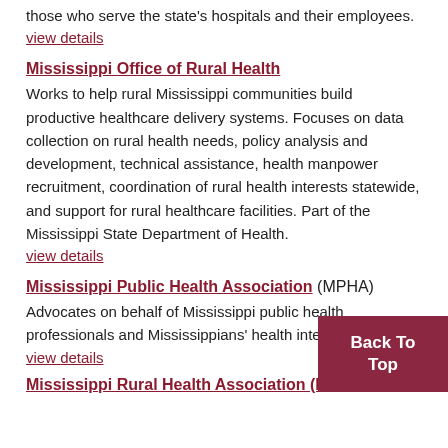those who serve the state's hospitals and their employees.
view details
Mississippi Office of Rural Health
Works to help rural Mississippi communities build productive healthcare delivery systems. Focuses on data collection on rural health needs, policy analysis and development, technical assistance, health manpower recruitment, coordination of rural health interests statewide, and support for rural healthcare facilities. Part of the Mississippi State Department of Health.
view details
Mississippi Public Health Association (MPHA)
Advocates on behalf of Mississippi public health professionals and Mississippians' health interests.
view details
Mississippi Rural Health Association (M...